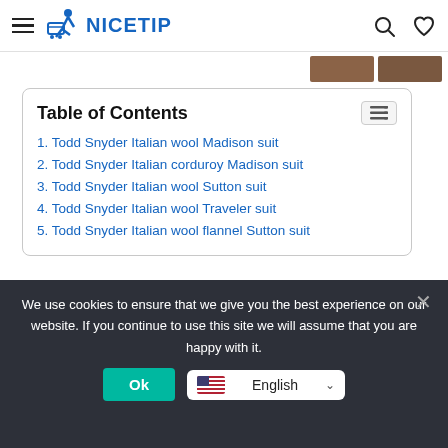NICETIP
Table of Contents
1. Todd Snyder Italian wool Madison suit
2. Todd Snyder Italian corduroy Madison suit
3. Todd Snyder Italian wool Sutton suit
4. Todd Snyder Italian wool Traveler suit
5. Todd Snyder Italian wool flannel Sutton suit
Todd Snyder Italian wool Madison suit
We use cookies to ensure that we give you the best experience on our website. If you continue to use this site we will assume that you are happy with it.